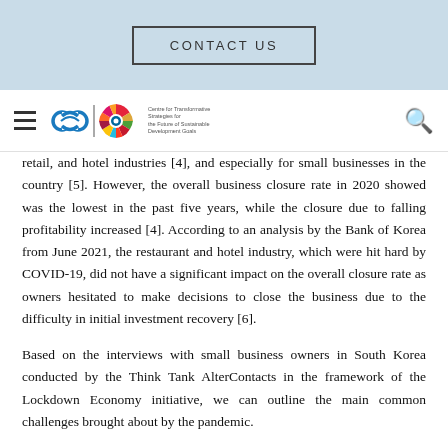CONTACT US
[Figure (logo): Navigation bar with hamburger menu, infinity loop logo with SDG logo, and search icon]
retail, and hotel industries [4], and especially for small businesses in the country [5]. However, the overall business closure rate in 2020 showed was the lowest in the past five years, while the closure due to falling profitability increased [4]. According to an analysis by the Bank of Korea from June 2021, the restaurant and hotel industry, which were hit hard by COVID-19, did not have a significant impact on the overall closure rate as owners hesitated to make decisions to close the business due to the difficulty in initial investment recovery [6].
Based on the interviews with small business owners in South Korea conducted by the Think Tank AlterContacts in the framework of the Lockdown Economy initiative, we can outline the main common challenges brought about by the pandemic.